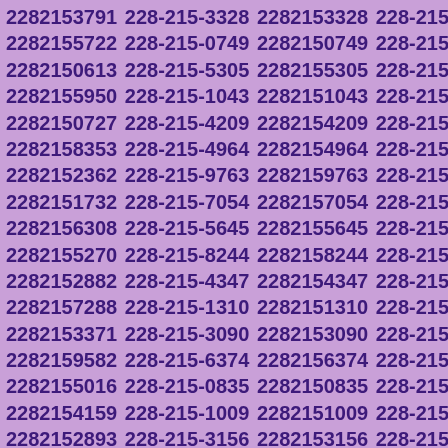| 2282153791 | 228-215-3328 | 2282153328 | 228-215-5722 |
| 2282155722 | 228-215-0749 | 2282150749 | 228-215-0613 |
| 2282150613 | 228-215-5305 | 2282155305 | 228-215-5950 |
| 2282155950 | 228-215-1043 | 2282151043 | 228-215-0727 |
| 2282150727 | 228-215-4209 | 2282154209 | 228-215-8353 |
| 2282158353 | 228-215-4964 | 2282154964 | 228-215-2362 |
| 2282152362 | 228-215-9763 | 2282159763 | 228-215-1732 |
| 2282151732 | 228-215-7054 | 2282157054 | 228-215-6308 |
| 2282156308 | 228-215-5645 | 2282155645 | 228-215-5270 |
| 2282155270 | 228-215-8244 | 2282158244 | 228-215-2882 |
| 2282152882 | 228-215-4347 | 2282154347 | 228-215-7288 |
| 2282157288 | 228-215-1310 | 2282151310 | 228-215-3371 |
| 2282153371 | 228-215-3090 | 2282153090 | 228-215-9582 |
| 2282159582 | 228-215-6374 | 2282156374 | 228-215-5016 |
| 2282155016 | 228-215-0835 | 2282150835 | 228-215-4159 |
| 2282154159 | 228-215-1009 | 2282151009 | 228-215-2893 |
| 2282152893 | 228-215-3156 | 2282153156 | 228-215-9686 |
| 2282159686 | 228-215-5181 | 2282155181 | 228-215-3083 |
| 2282153083 | 228-215-9925 | 2282159925 | 228-215-3848 |
| 2282153848 | 228-215-7302 | 2282157302 | 228-215-1866 |
| 2282151866 | 228-215-6772 | 2282156772 | 228-215-4606 |